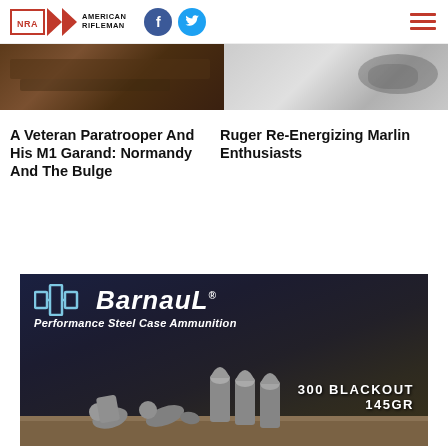NRA American Rifleman
A Veteran Paratrooper And His M1 Garand: Normandy And The Bulge
Ruger Re-Energizing Marlin Enthusiasts
[Figure (photo): Barnaul Performance Steel Case Ammunition advertisement showing 300 Blackout 145GR bullets on a wooden surface with firearms in background]